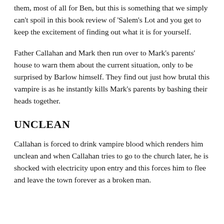them, most of all for Ben, but this is something that we simply can't spoil in this book review of 'Salem's Lot and you get to keep the excitement of finding out what it is for yourself.
Father Callahan and Mark then run over to Mark's parents' house to warn them about the current situation, only to be surprised by Barlow himself. They find out just how brutal this vampire is as he instantly kills Mark's parents by bashing their heads together.
UNCLEAN
Callahan is forced to drink vampire blood which renders him unclean and when Callahan tries to go to the church later, he is shocked with electricity upon entry and this forces him to flee and leave the town forever as a broken man.